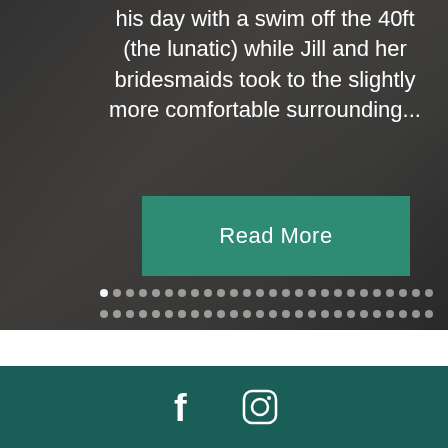[Figure (photo): Wedding photo background showing a couple, the groom in dark suit and bride in white dress, partially visible]
his day with a swim off the 40ft (the lunatic) while Jill and her bridesmaids took to the slightly more comfortable surrounding...
Read More
Facebook and Instagram social media icons